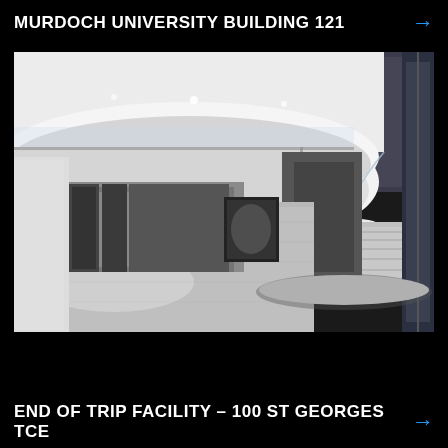MURDOCH UNIVERSITY BUILDING 121 →
[Figure (photo): Interior photo of Murdoch University Building 121 showing a modern lobby with a curved spiral staircase, glass balustrades, polished marble floor, and upper balcony level with glass railing]
END OF TRIP FACILITY – 100 ST GEORGES TCE →